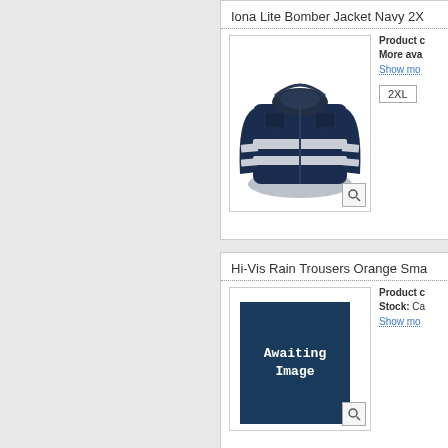Iona Lite Bomber Jacket Navy 2X
[Figure (photo): Navy blue bomber jacket with reflective silver stripes, shown on white background]
Product c
More ava
Show mo
2XL
Hi-Vis Rain Trousers Orange Sma
[Figure (photo): Awaiting Image placeholder on dark navy background]
Product c
Stock: Ca
Show mo